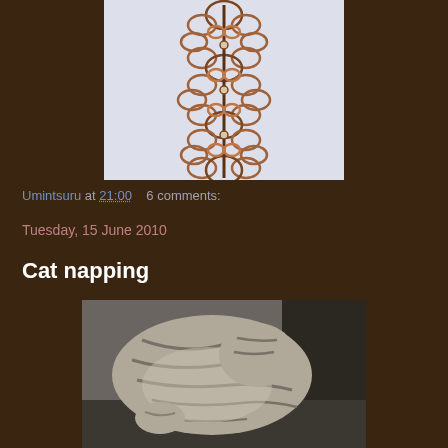[Figure (photo): Tatted lace bracelet or bookmark in brown/copper thread with intricate loop patterns, photographed against a light blue/white background]
Umintsuru at 21:00   6 comments:
Tuesday, 15 June 2010
Cat napping
[Figure (photo): A tabby cat curled up sleeping, viewed from above, showing striped fur pattern]